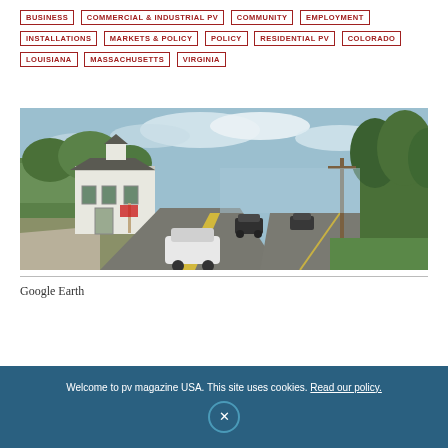BUSINESS
COMMERCIAL & INDUSTRIAL PV
COMMUNITY
EMPLOYMENT
INSTALLATIONS
MARKETS & POLICY
POLICY
RESIDENTIAL PV
COLORADO
LOUISIANA
MASSACHUSETTS
VIRGINIA
[Figure (photo): Street view photo from Google Earth showing a white New England-style building (possibly a church or town hall) with a cupola on the left side of a two-lane road, with trees and utility poles, cars on the road, on a partly cloudy day.]
Google Earth
Welcome to pv magazine USA. This site uses cookies. Read our policy.